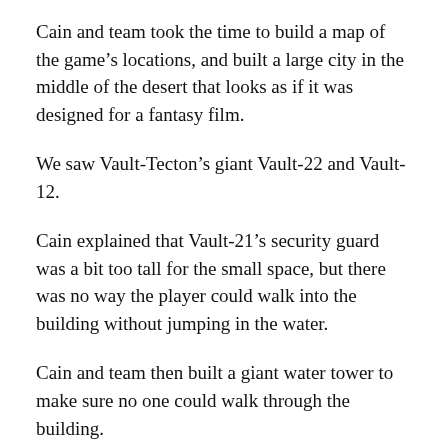Cain and team took the time to build a map of the game's locations, and built a large city in the middle of the desert that looks as if it was designed for a fantasy film.
We saw Vault-Tecton's giant Vault-22 and Vault-12.
Cain explained that Vault-21's security guard was a bit too tall for the small space, but there was no way the player could walk into the building without jumping in the water.
Cain and team then built a giant water tower to make sure no one could walk through the building.
We spent a good part of the day driving around Vault-11, the location where the game opens with the player encountering the main antagonist, Mister Sinister.